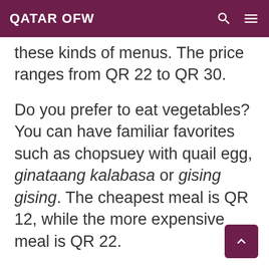QATAR OFW
these kinds of menus. The price ranges from QR 22 to QR 30.
Do you prefer to eat vegetables? You can have familiar favorites such as chopsuey with quail egg, ginataang kalabasa or gising gising. The cheapest meal is QR 12, while the more expensive meal is QR 22.
If you like seafood, some of the